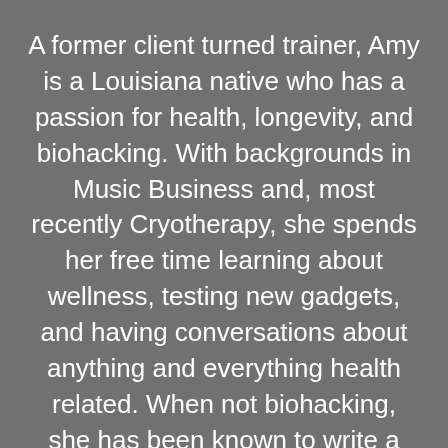A former client turned trainer, Amy is a Louisiana native who has a passion for health, longevity, and biohacking. With backgrounds in Music Business and, most recently Cryotherapy, she spends her free time learning about wellness, testing new gadgets, and having conversations about anything and everything health related. When not biohacking, she has been known to write a song or two.